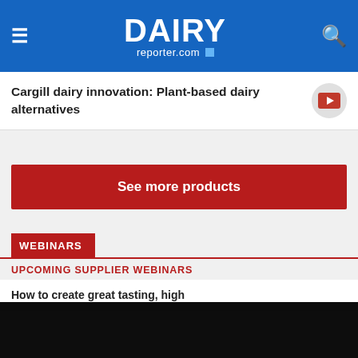DAIRY reporter.com
Cargill dairy innovation: Plant-based dairy alternatives
See more products
WEBINARS
UPCOMING SUPPLIER WEBINARS
How to create great tasting, high
This website uses cookies. By continuing to browse our website, you are agreeing to our use of cookies. You can learn more about cookies by visiting our privacy & cookies policy page.
I Agree